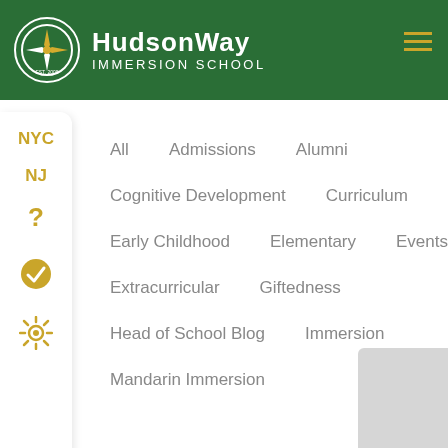[Figure (logo): HudsonWay Immersion School logo with compass rose in a circle on a dark green header bar]
HudsonWay Immersion School
NYC
NJ
?
checkmark icon
sun/gear icon
All   Admissions   Alumni
Cognitive Development   Curriculum
Early Childhood   Elementary   Events
Extracurricular   Giftedness
Head of School Blog   Immersion
Mandarin Immersion